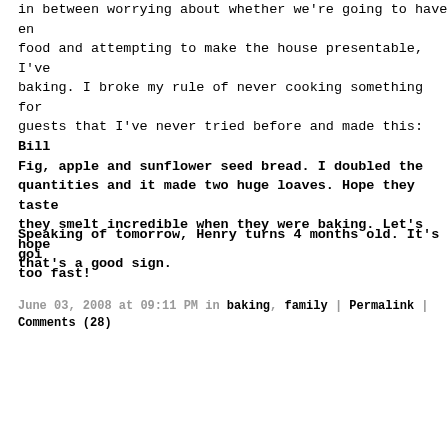in between worrying about whether we're going to have enough food and attempting to make the house presentable, I've been baking. I broke my rule of never cooking something for guests that I've never tried before and made this: Bill's Fig, apple and sunflower seed bread. I doubled the quantities and it made two huge loaves. Hope they taste as good as they smelt incredible when they were baking. Let's hope that's a good sign.
Speaking of tomorrow, Henry turns 4 months old. It's going too fast!
June 03, 2008 at 09:11 PM in baking, family | Permalink | Comments (28)